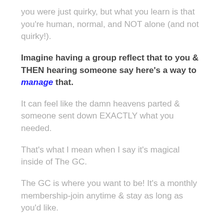you were just quirky, but what you learn is that you're human, normal, and NOT alone (and not quirky!).
Imagine having a group reflect that to you & THEN hearing someone say here's a way to manage that.
It can feel like the damn heavens parted & someone sent down EXACTLY what you needed.
That's what I mean when I say it's magical inside of The GC.
The GC is where you want to be! It's a monthly membership-join anytime & stay as long as you'd like.